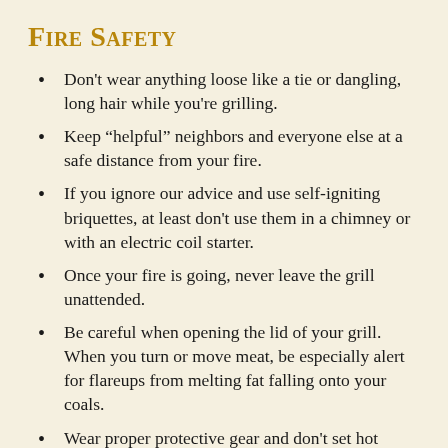Fire Safety
Don’t wear anything loose like a tie or dangling, long hair while you’re grilling.
Keep “helpful” neighbors and everyone else at a safe distance from your fire.
If you ignore our advice and use self-igniting briquettes, at least don’t use them in a chimney or with an electric coil starter.
Once your fire is going, never leave the grill unattended.
Be careful when opening the lid of your grill. When you turn or move meat, be especially alert for flareups from melting fat falling onto your coals.
Wear proper protective gear and don’t set hot items near flammables, where someone can accidentally touch them, or where they can be knocked over by